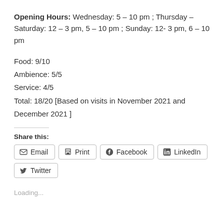Opening Hours:  Wednesday: 5 – 10 pm ; Thursday – Saturday: 12 – 3 pm, 5 – 10 pm ; Sunday: 12- 3 pm, 6 – 10 pm
Food: 9/10
Ambience: 5/5
Service: 4/5
Total: 18/20 [Based on visits in November 2021 and December 2021 ]
Share this:
Email  Print  Facebook  LinkedIn  Twitter
Loading...